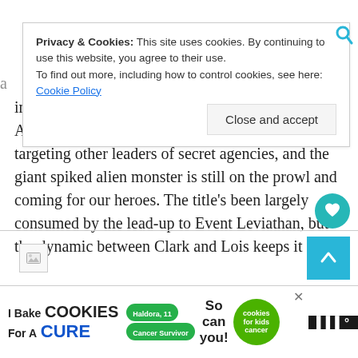into a narrative. Kelex is keeping an eye on Amanda Waller and Jimmy Olsen, assassins are targeting other leaders of secret agencies, and the giant spiked alien monster is still on the prowl and coming for our heroes. The title's been largely consumed by the lead-up to Event Leviathan, but the dynamic between Clark and Lois keeps it fresh.
Privacy & Cookies: This site uses cookies. By continuing to use this website, you agree to their use. To find out more, including how to control cookies, see here: Cookie Policy
[Figure (other): Close and accept button for cookie banner]
[Figure (other): Scroll to top button (blue, arrow up)]
[Figure (other): Heart/favorite button (teal circle)]
[Figure (other): Advertisement banner: I Bake COOKIES For A CURE / So can you! / cookies for kids cancer]